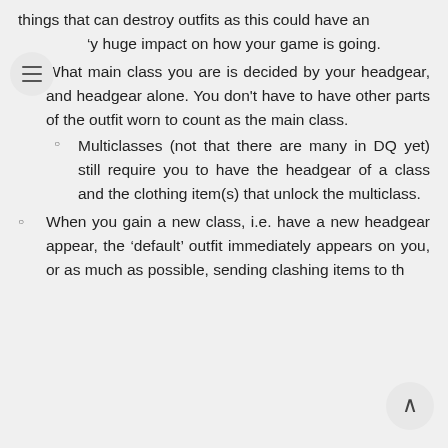things that can destroy outfits as this could have an 'y huge impact on how your game is going.
What main class you are is decided by your headgear, and headgear alone. You don't have to have other parts of the outfit worn to count as the main class.
Multiclasses (not that there are many in DQ yet) still require you to have the headgear of a class and the clothing item(s) that unlock the multiclass.
When you gain a new class, i.e. have a new headgear appear, the 'default' outfit immediately appears on you, or as much as possible, sending clashing items to th